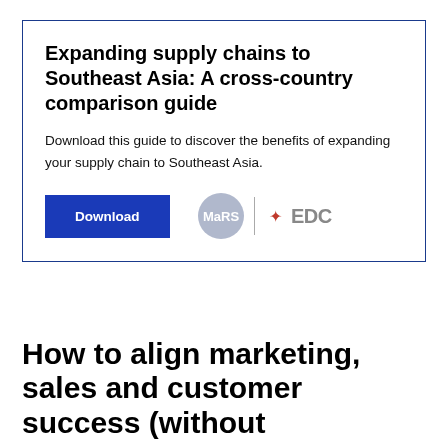[Figure (infographic): Bordered card with title, description text, Download button, MaRS logo, and EDC logo]
Expanding supply chains to Southeast Asia: A cross-country comparison guide
Download this guide to discover the benefits of expanding your supply chain to Southeast Asia.
How to align marketing, sales and customer success (without